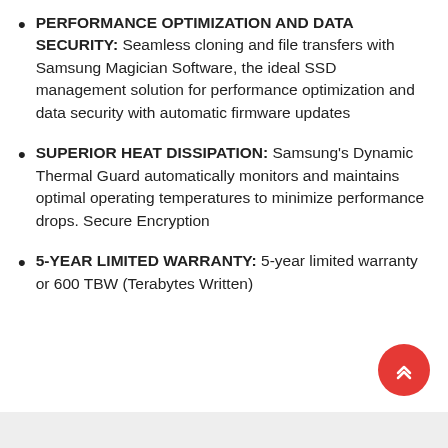PERFORMANCE OPTIMIZATION AND DATA SECURITY: Seamless cloning and file transfers with Samsung Magician Software, the ideal SSD management solution for performance optimization and data security with automatic firmware updates
SUPERIOR HEAT DISSIPATION: Samsung's Dynamic Thermal Guard automatically monitors and maintains optimal operating temperatures to minimize performance drops. Secure Encryption
5-YEAR LIMITED WARRANTY: 5-year limited warranty or 600 TBW (Terabytes Written)